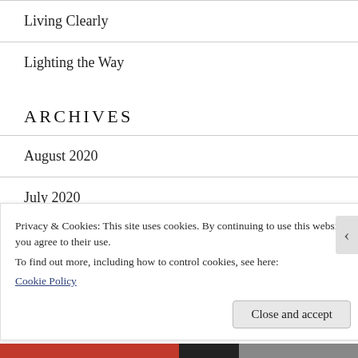Living Clearly
Lighting the Way
ARCHIVES
August 2020
July 2020
March 2020
Privacy & Cookies: This site uses cookies. By continuing to use this website, you agree to their use.
To find out more, including how to control cookies, see here:
Cookie Policy
Close and accept